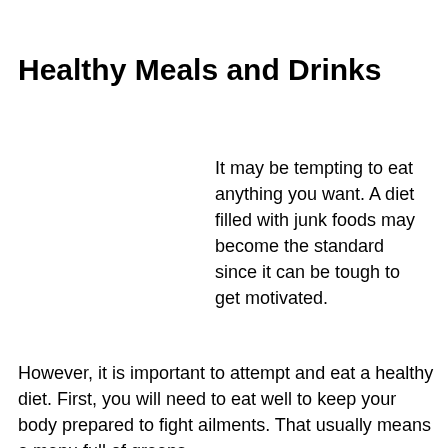Healthy Meals and Drinks
It may be tempting to eat anything you want. A diet filled with junk foods may become the standard since it can be tough to get motivated.
However, it is important to attempt and eat a healthy diet. First, you will need to eat well to keep your body prepared to fight ailments. That usually means a menu full of greens,